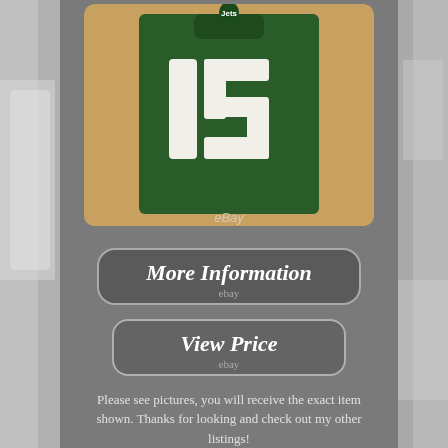[Figure (photo): Green New York Jets #15 football jersey laid on a wooden surface, showing the number 15 prominently. eBay watermark visible.]
[Figure (other): Button/banner with text 'More Information' and 'ebay' below, styled with rounded rectangle on gray background.]
[Figure (other): Button/banner with text 'View Price' and 'ebay' below, styled with rounded rectangle on gray background.]
Please see pictures, you will receive the exact item shown. Thanks for looking and check out my other listings!